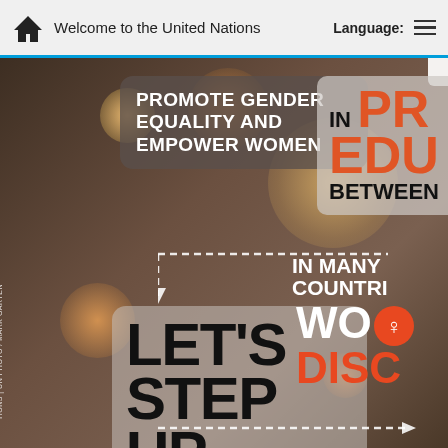Welcome to the United Nations  Language:
[Figure (screenshot): UN website screenshot showing a promotional infographic about gender equality with a dark background photo and overlaid text boxes. Contains: 'PROMOTE GENDER EQUALITY AND EMPOWER WOMEN' in white bold text on semi-transparent box; dashed arrow pointing down; 'LET'S STEP UP' in large black bold text on semi-transparent box; partial right-side overlay showing 'IN PR EDU BETWEEN'; 'IN MANY COUNTRIES'; 'WOM' with gender symbol circle; 'DISCO' in orange; rotated photo credit 'TIONS | UN PHOTO / MARK GARTEN']
PROMOTE GENDER EQUALITY AND EMPOWER WOMEN
LET'S STEP UP
IN PR EDU BETWEEN
IN MANY COUNTRIES
WOM DISCO
TIONS | UN PHOTO / MARK GARTEN